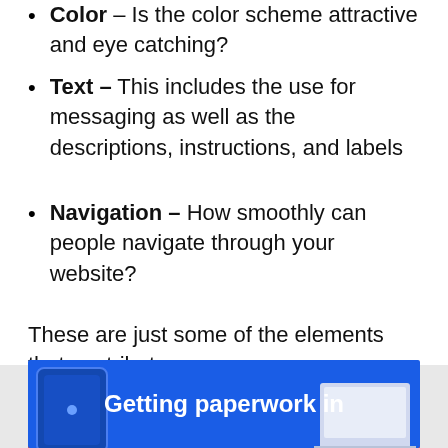Color – Is the color scheme attractive and eye catching?
Text – This includes the use for messaging as well as the descriptions, instructions, and labels
Navigation – How smoothly can people navigate through your website?
These are just some of the elements that contribute
We use cookies to ensure you get the best experience on our website. View our privacy policy.
Got it!
conversion.
[Figure (screenshot): Blue promotional banner showing a phone and laptop with text 'Getting paperwork in']